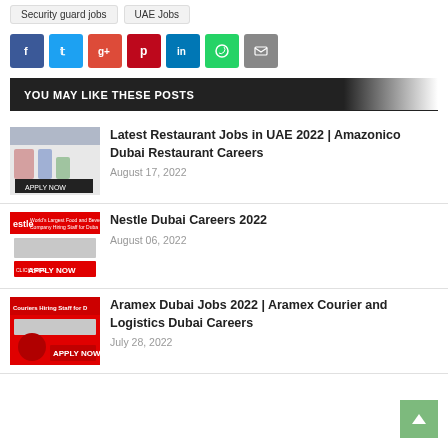Security guard jobs
UAE Jobs
[Figure (infographic): Social share buttons: Facebook, Twitter, Google+, Pinterest, LinkedIn, WhatsApp, Email]
YOU MAY LIKE THESE POSTS
[Figure (photo): Thumbnail image for Latest Restaurant Jobs in UAE 2022 article]
Latest Restaurant Jobs in UAE 2022 | Amazonico Dubai Restaurant Careers
August 17, 2022
[Figure (photo): Thumbnail image for Nestle Dubai Careers 2022 article]
Nestle Dubai Careers 2022
August 06, 2022
[Figure (photo): Thumbnail image for Aramex Dubai Jobs 2022 article]
Aramex Dubai Jobs 2022 | Aramex Courier and Logistics Dubai Careers
July 28, 2022